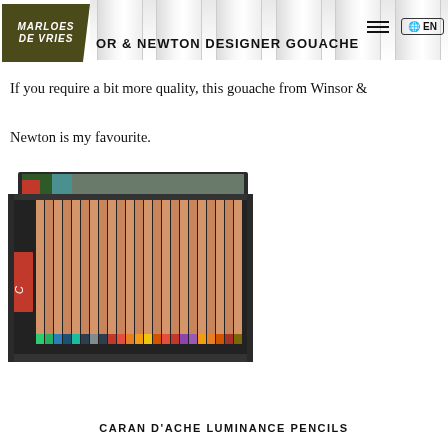[Figure (screenshot): Marloes de Vries website header showing logo, hamburger menu, EN language button, white gouache tubes in background, and page title 'WINSOR & NEWTON DESIGNER GOUACHE']
If you require a bit more quality, this gouache from Winsor & Newton is my favourite.
[Figure (photo): Open box of Caran d'Ache Luminance colored pencils showing approximately 20 pencils with natural wood bodies and colored tips, displayed in a black box with a colorful lid visible behind]
CARAN D'ACHE LUMINANCE PENCILS